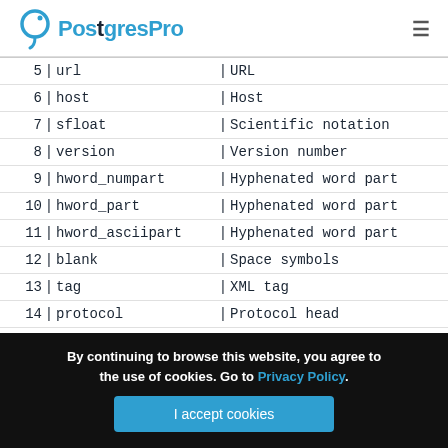PostgresPro
|  |  |  |  |  |
| --- | --- | --- | --- | --- |
| 5 | | | url | | | URL |
| 6 | | | host | | | Host |
| 7 | | | sfloat | | | Scientific notation |
| 8 | | | version | | | Version number |
| 9 | | | hword_numpart | | | Hyphenated word part |
| 10 | | | hword_part | | | Hyphenated word part |
| 11 | | | hword_asciipart | | | Hyphenated word part |
| 12 | | | blank | | | Space symbols |
| 13 | | | tag | | | XML tag |
| 14 | | | protocol | | | Protocol head |
| 15 | | | numhword | | | Hyphenated word, let |
| 16 | | | asciihword | | | Hyphenated word, all |
By continuing to browse this website, you agree to the use of cookies. Go to Privacy Policy.
I accept cookies